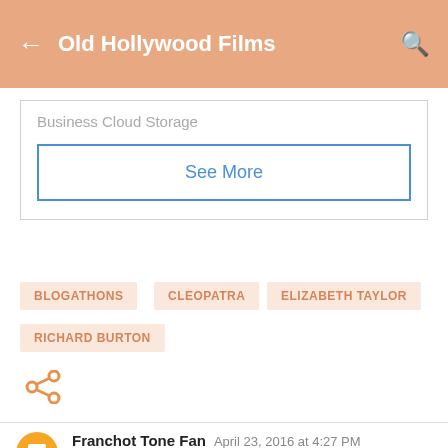Old Hollywood Films
Business Cloud Storage
See More
BLOGATHONS
CLEOPATRA
ELIZABETH TAYLOR
RICHARD BURTON
[Figure (other): Share icon (orange)]
Franchot Tone Fan  April 23, 2016 at 4:27 PM